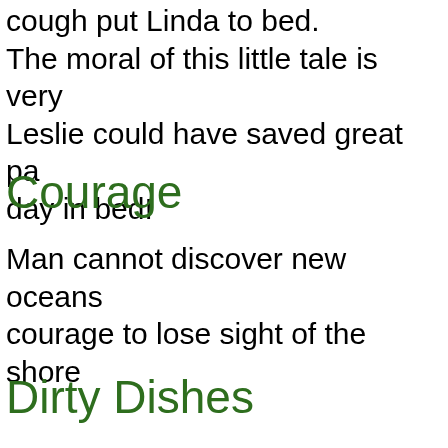cough put Linda to bed. The moral of this little tale is very Leslie could have saved great pa day in bed!
Courage
Man cannot discover new oceans courage to lose sight of the shore
Dirty Dishes